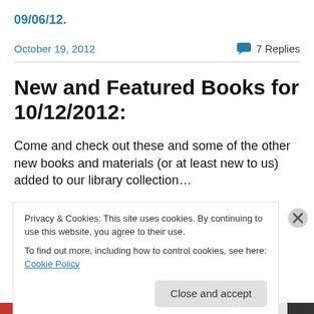09/06/12.
October 19, 2012    💬 7 Replies
New and Featured Books for 10/12/2012:
Come and check out these and some of the other new books and materials (or at least new to us) added to our library collection…
Privacy & Cookies: This site uses cookies. By continuing to use this website, you agree to their use.
To find out more, including how to control cookies, see here: Cookie Policy
Close and accept